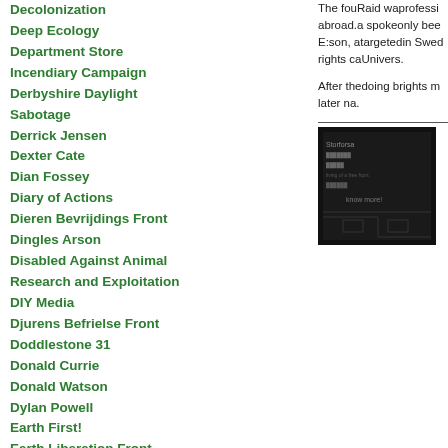Decolonization
Deep Ecology
Department Store Incendiary Campaign
Derbyshire Daylight Sabotage
Derrick Jensen
Dexter Cate
Dian Fossey
Diary of Actions
Dieren Bevrijdings Front
Dingles Arson
Disabled Against Animal Research and Exploitation
DIY Media
Djurens Befrielse Front
Doddlestone 31
Donald Currie
Donald Watson
Dylan Powell
Earth First!
Earth Liberation Front
Earth Liberation Prisoners Support Network
Eco-Raiders
Ed Abbey
Elaho Valley Campaign
EMETIC
The fou... Raid wa... professi... abroad.... a spoke... only bee... E:son, a... targeted... in Swed... rights ca... Univers...
After the... doing b... rights m... later na...
[Figure (photo): Dark image, appears to be a book or document cover with text partially visible]